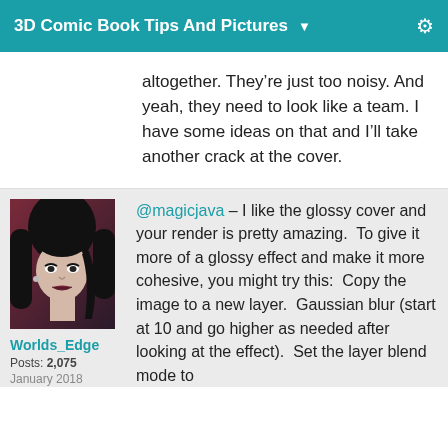3D Comic Book Tips And Pictures
altogether. They're just too noisy. And yeah, they need to look like a team. I have some ideas on that and I'll take another crack at the cover.
[Figure (photo): Avatar photo of user Worlds_Edge: a woman with dark hair, pale skin, and dark lipstick against a dark red background]
Worlds_Edge
Posts: 2,075
January 2018
@magicjava – I like the glossy cover and your render is pretty amazing.  To give it more of a glossy effect and make it more cohesive, you might try this:  Copy the image to a new layer.  Gaussian blur (start at 10 and go higher as needed after looking at the effect).  Set the layer blend mode to